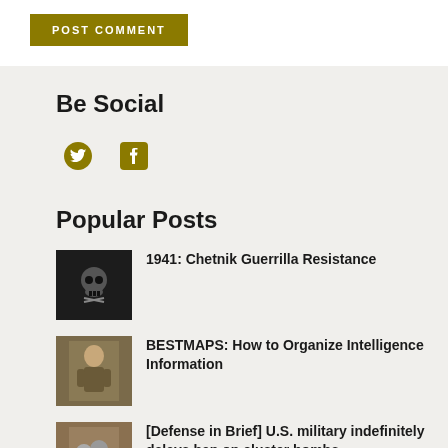POST COMMENT
Be Social
[Figure (illustration): Twitter bird icon in olive/gold color]
[Figure (illustration): Facebook 'f' icon in olive/gold color]
Popular Posts
[Figure (photo): Skull and crossbones emblem thumbnail]
1941: Chetnik Guerrilla Resistance
[Figure (photo): Soldier in field gear thumbnail]
BESTMAPS: How to Organize Intelligence Information
[Figure (photo): Military scene thumbnail]
[Defense in Brief] U.S. military indefinitely delays ban on cluster bombs